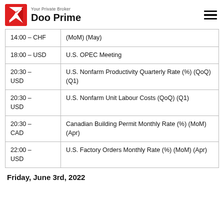Your Private Broker | Doo Prime
| Time – Currency | Event |
| --- | --- |
| 14:00 – CHF | (MoM) (May) |
| 18:00 – USD | U.S. OPEC Meeting |
| 20:30 – USD | U.S. Nonfarm Productivity Quarterly Rate (%) (QoQ) (Q1) |
| 20:30 – USD | U.S. Nonfarm Unit Labour Costs (QoQ) (Q1) |
| 20:30 – CAD | Canadian Building Permit Monthly Rate (%) (MoM) (Apr) |
| 22:00 – USD | U.S. Factory Orders Monthly Rate (%) (MoM) (Apr) |
Friday, June 3rd, 2022